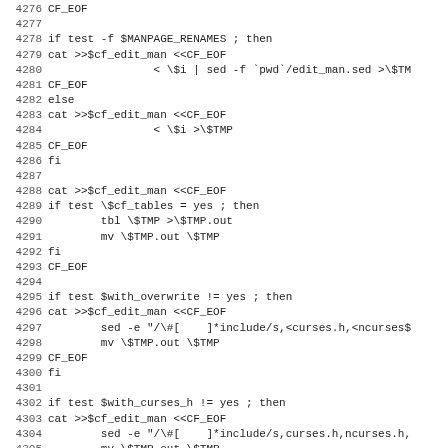Code listing lines 4276-4307, shell script source code
4276 CF_EOF
4277 
4278 if test -f $MANPAGE_RENAMES ; then
4279 cat >>$cf_edit_man <<CF_EOF
4280                 < \$i | sed -f `pwd`/edit_man.sed >\$TM
4281 CF_EOF
4282 else
4283 cat >>$cf_edit_man <<CF_EOF
4284                 < \$i >\$TMP
4285 CF_EOF
4286 fi
4287 
4288 cat >>$cf_edit_man <<CF_EOF
4289 if test \$cf_tables = yes ; then
4290         tbl \$TMP >\$TMP.out
4291         mv \$TMP.out \$TMP
4292 fi
4293 CF_EOF
4294 
4295 if test $with_overwrite != yes ; then
4296 cat >>$cf_edit_man <<CF_EOF
4297         sed -e "/\#[    ]*include/s,<curses.h,<ncurses$
4298         mv \$TMP.out \$TMP
4299 CF_EOF
4300 fi
4301 
4302 if test $with_curses_h != yes ; then
4303 cat >>$cf_edit_man <<CF_EOF
4304         sed -e "/\#[    ]*include/s,curses.h,ncurses.h,
4305         mv \$TMP.out \$TMP
4306 CF_EOF
4307 fi